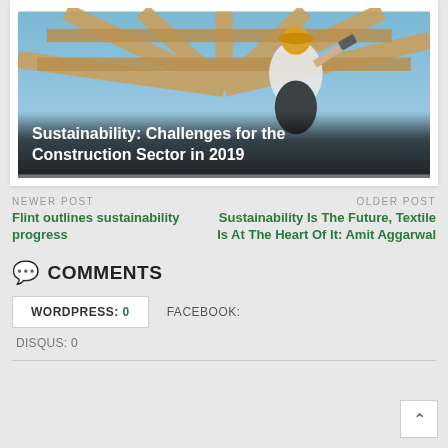[Figure (photo): Construction worker hammering wooden beams against a blue sky, viewed from below]
Sustainability: Challenges for the Construction Sector in 2019
Newer Post
Flint outlines sustainability progress
Older Post
Sustainability Is The Future, Textile Is At The Heart Of It: Amit Aggarwal
COMMENTS
WORDPRESS: 0
FACEBOOK:
DISQUS: 0